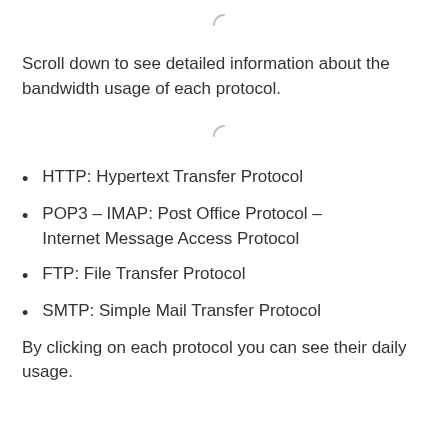[Figure (other): Loading spinner icon (partial arc, light gray)]
Scroll down to see detailed information about the bandwidth usage of each protocol.
[Figure (other): Loading spinner icon (partial arc, light gray)]
HTTP: Hypertext Transfer Protocol
POP3 – IMAP: Post Office Protocol – Internet Message Access Protocol
FTP: File Transfer Protocol
SMTP: Simple Mail Transfer Protocol
By clicking on each protocol you can see their daily usage.